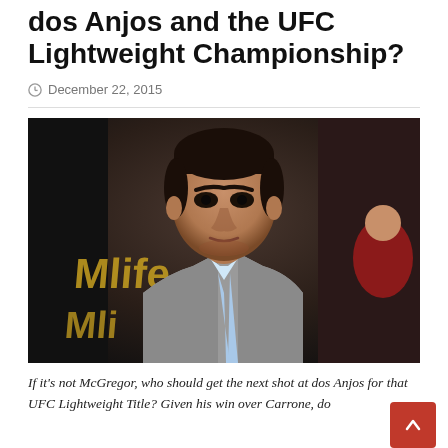dos Anjos and the UFC Lightweight Championship?
December 22, 2015
[Figure (photo): Rafael dos Anjos seated ringside wearing a grey plaid blazer and light blue dress shirt, looking serious. Background shows arena crowd and gold Reebok UFC branding.]
If it's not McGregor, who should get the next shot at dos Anjos for that UFC Lightweight Title? Given his win over Carrone, do